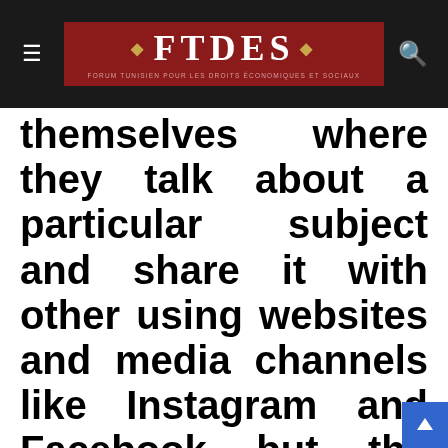FTDES
themselves where they talk about a particular subject and share it with other using websites and media channels like Instagram and Facebook but the most popular one is YouTube. People nowadays who work through YouTube and we